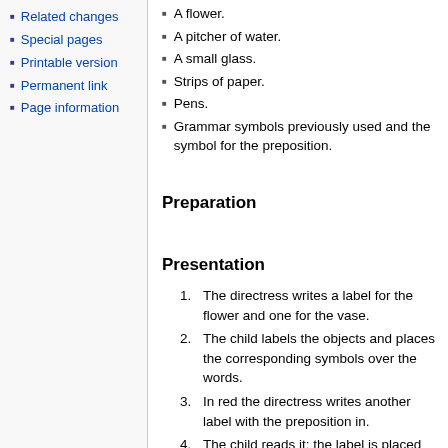Related changes
Special pages
Printable version
Permanent link
Page information
A flower.
A pitcher of water.
A small glass.
Strips of paper.
Pens.
Grammar symbols previously used and the symbol for the preposition.
Preparation
Presentation
The directress writes a label for the flower and one for the vase.
The child labels the objects and places the corresponding symbols over the words.
In red the directress writes another label with the preposition in.
The child reads it; the label is placed between the other two labels, and the